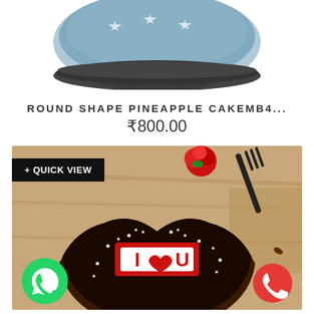[Figure (photo): Top portion of a round pineapple cake on a plate, partially cropped at top of page]
ROUND SHAPE PINEAPPLE CAKEMB4...
₹800.00
[Figure (photo): Heart-shaped chocolate cake decorated with white sprinkles and an 'I ❤ U' plaque, with a red rose and fork in the background. WhatsApp and phone call buttons visible at bottom corners.]